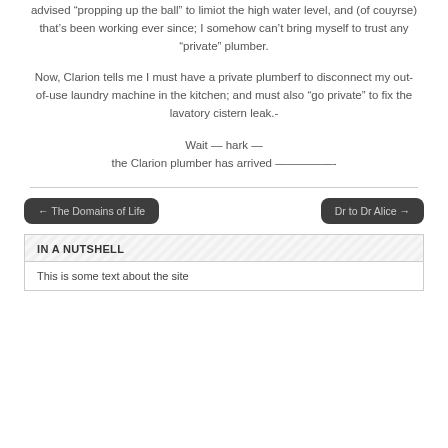advised “propping up the ball” to limiot the high water level, and (of couyrse) that’s been working ever since; I somehow can’t bring myself to trust any “private” plumber.
Now, Clarion tells me I must have a private plumberf to disconnect my out-of-use laundry machine in the kitchen; and must also “go private” to fix the lavatory cistern leak.-
Wait — hark —
the Clarion plumber has arrived —————-
← The Domains of Life
Dr to Dr Alice →
IN A NUTSHELL
This is some text about the site